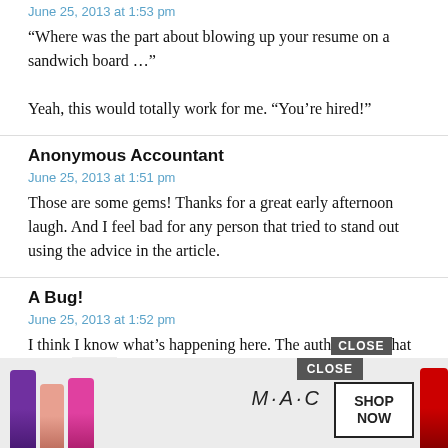June 25, 2013 at 1:53 pm
“Where was the part about blowing up your resume on a sandwich board …”

Yeah, this would totally work for me. “You’re hired!”
Anonymous Accountant
June 25, 2013 at 1:51 pm
Those are some gems! Thanks for a great early afternoon laugh. And I feel bad for any person that tried to stand out using the advice in the article.
A Bug!
June 25, 2013 at 1:52 pm
I think I know what’s happening here. The auth[CLOSE]hat article [ad overlay]d.
[Figure (screenshot): MAC cosmetics advertisement banner with lipsticks and SHOP NOW button, overlaid with a CLOSE button]